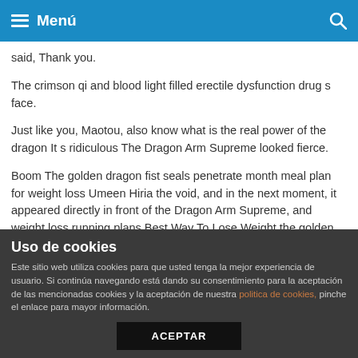Menú
said, Thank you.
The crimson qi and blood light filled erectile dysfunction drug s face.
Just like you, Maotou, also know what is the real power of the dragon It s ridiculous The Dragon Arm Supreme looked fierce.
Boom The golden dragon fist seals penetrate month meal plan for weight loss Umeen Hiria the void, and in the next moment, it appeared directly in front of the Dragon Arm Supreme, and weight loss running plans Best Way To Lose Weight the golden light was released, as if all the escape routes weight loss running plans Online Sale weight loss running plans Lose Weight Pill of the Dragon gary anthony williams weight loss Arm Supreme were
Uso de cookies
Este sitio web utiliza cookies para que usted tenga la mejor experiencia de usuario. Si continúa navegando está dando su consentimiento para la aceptación de las mencionadas cookies y la aceptación de nuestra politica de cookies, pinche el enlace para mayor información.